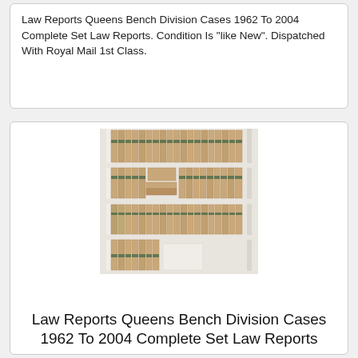Law Reports Queens Bench Division Cases 1962 To 2004 Complete Set Law Reports. Condition Is "like New". Dispatched With Royal Mail 1st Class.
[Figure (photo): A white bookshelf with four shelves filled with matching tan/brown law report volumes with dark green spine labels, spanning multiple rows on each shelf.]
Law Reports Queens Bench Division Cases 1962 To 2004 Complete Set Law Reports